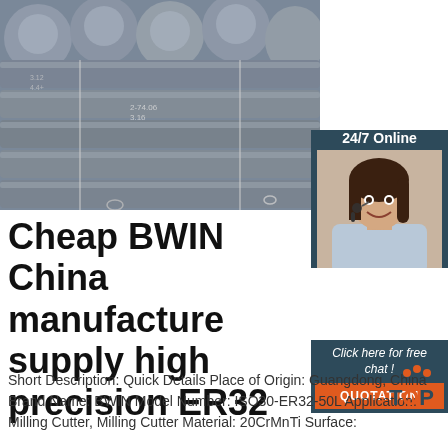[Figure (photo): Steel round bars/rods bundled together with wire ties, showing cross-sections with markings]
[Figure (photo): 24/7 Online customer service agent - woman with headset smiling]
Cheap BWIN China manufacture supply high precision ER32 ...
Click here for free chat !
QUOTATION
Short Description: Quick Details Place of Origin: Guangdong, China Brand Name: BWIN Model Number: ISO30-ER32-50L Application: Milling Cutter, Milling Cutter Material: 20CrMnTi Surface: